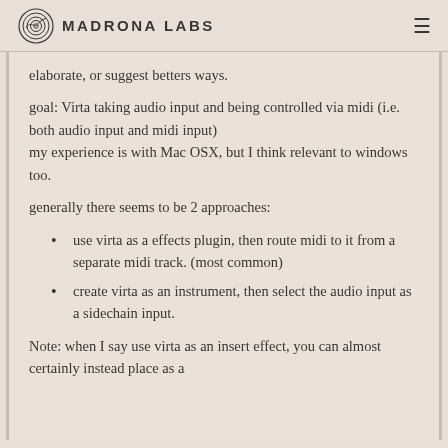Madrona Labs
elaborate, or suggest betters ways.
goal: Virta taking audio input and being controlled via midi (i.e. both audio input and midi input)
my experience is with Mac OSX, but I think relevant to windows too.
generally there seems to be 2 approaches:
use virta as a effects plugin, then route midi to it from a separate midi track. (most common)
create virta as an instrument, then select the audio input as a sidechain input.
Note: when I say use virta as an insert effect, you can almost certainly instead place as a